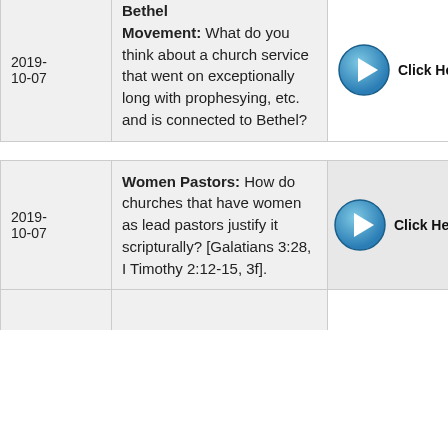| Date | Topic / Question | Listen |
| --- | --- | --- |
| 2019-10-07 | Bethel Movement: What do you think about a church service that went on exceptionally long with prophesying, etc. and is connected to Bethel? | Click Here to Listen to |
| 2019-10-07 | Women Pastors: How do churches that have women as lead pastors justify it scripturally? [Galatians 3:28, I Timothy 2:12-15, 3f]. | Click Here to Listen to |